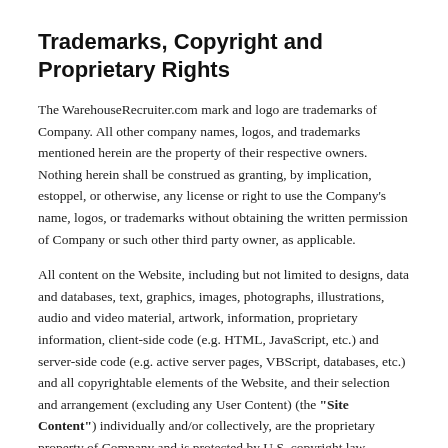Trademarks, Copyright and Proprietary Rights
The WarehouseRecruiter.com mark and logo are trademarks of Company. All other company names, logos, and trademarks mentioned herein are the property of their respective owners. Nothing herein shall be construed as granting, by implication, estoppel, or otherwise, any license or right to use the Company's name, logos, or trademarks without obtaining the written permission of Company or such other third party owner, as applicable.
All content on the Website, including but not limited to designs, data and databases, text, graphics, images, photographs, illustrations, audio and video material, artwork, information, proprietary information, client-side code (e.g. HTML, JavaScript, etc.) and server-side code (e.g. active server pages, VBScript, databases, etc.) and all copyrightable elements of the Website, and their selection and arrangement (excluding any User Content) (the "Site Content") individually and/or collectively, are the proprietary property of Company and is protected by U.S. copyright law, international treaties and other intellectual property rights. Except as otherwise